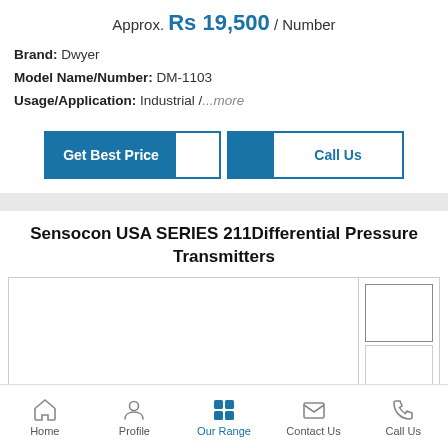Approx. Rs 19,500 / Number
Brand: Dwyer
Model Name/Number: DM-1103
Usage/Application: Industrial /...more
[Figure (screenshot): Get Best Price and Call Us buttons]
Sensocon USA SERIES 211Differential Pressure Transmitters
[Figure (photo): Product image area with main image and two thumbnail images]
Home | Profile | Our Range | Contact Us | Call Us